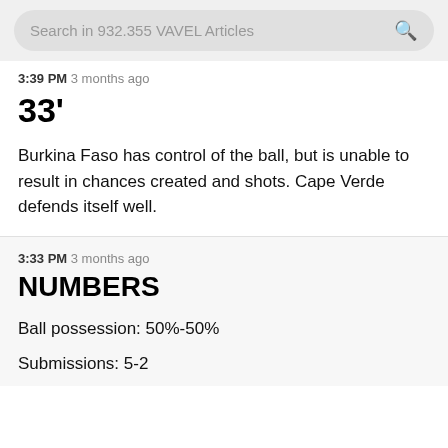Search in 932.355 VAVEL Articles
3:39 PM  3 months ago
33'
Burkina Faso has control of the ball, but is unable to result in chances created and shots. Cape Verde defends itself well.
3:33 PM  3 months ago
NUMBERS
Ball possession: 50%-50%
Submissions: 5-2